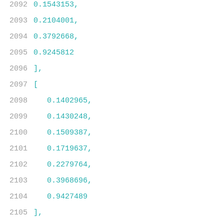2092    0.1543153,
2093    0.2104001,
2094    0.3792668,
2095    0.9245812
2096    ],
2097    [
2098    0.1402965,
2099    0.1430248,
2100    0.1509387,
2101    0.1719637,
2102    0.2279764,
2103    0.3968696,
2104    0.9427489
2105    ],
2106    [
2107    0.1786769,
2108    0.1814254,
2109    0.1894059,
2110    0.2108677,
2111    0.26706,
2112    0.4363958,
2113    0.9846476